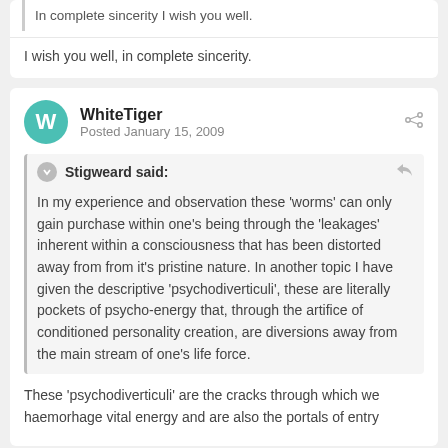In complete sincerity I wish you well.
I wish you well, in complete sincerity.
WhiteTiger
Posted January 15, 2009
Stigweard said:
In my experience and observation these 'worms' can only gain purchase within one's being through the 'leakages' inherent within a consciousness that has been distorted away from from it's pristine nature. In another topic I have given the descriptive 'psychodiverticuli', these are literally pockets of psycho-energy that, through the artifice of conditioned personality creation, are diversions away from the main stream of one's life force.
These 'psychodiverticuli' are the cracks through which we haemorhage vital energy and are also the portals of entry